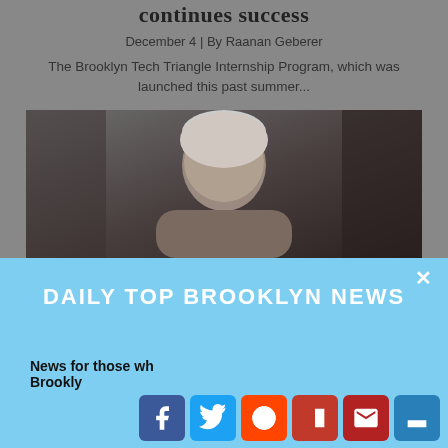continues success
December 4 | By Raanan Geberer
The Brooklyn Tech Triangle Internship Program, which was launched this past summer...
[Figure (photo): Photo of an older man with white/grey hair, dimly lit, dark background]
DAILY TOP BROOKLYN NEWS
News for those wh Brookly
[Figure (infographic): Social media share buttons: Facebook, Twitter, Reddit, Flipboard, Email, Share]